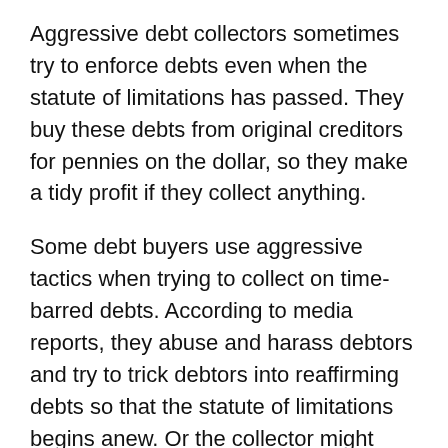Aggressive debt collectors sometimes try to enforce debts even when the statute of limitations has passed. They buy these debts from original creditors for pennies on the dollar, so they make a tidy profit if they collect anything.
Some debt buyers use aggressive tactics when trying to collect on time-barred debts. According to media reports, they abuse and harass debtors and try to trick debtors into reaffirming debts so that the statute of limitations begins anew. Or the collector might even file a collection lawsuit after the limitations period has passed, hoping you won't notice that the statute of limitations has expired and won't raise it as a defense to the suit.
Suing on a Time-Barred Debt Is Illegal